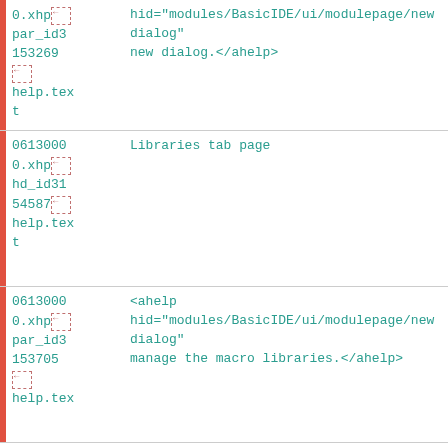| ID/File | Content |
| --- | --- |
| 0.xhp [icon] par_id3 153269 [icon] help.tex t | hid="modules/BasicIDE/ui/modulepage/newdialog" new dialog.</ahelp> |
| 0613000 0.xhp [icon] hd_id31 54587 [icon] help.tex t | Libraries tab page |
| 0613000 0.xhp [icon] par_id3 153705 [icon] help.tex | hid="modules/BasicIDE/ui/modulepage/newdialog" manage the macro libraries.</ahelp> |